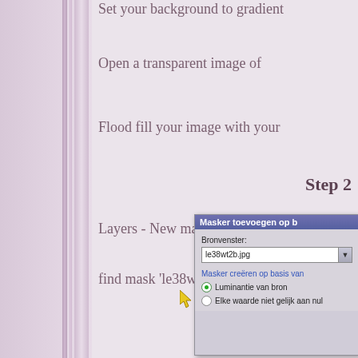Set your background to gradient...
Open a transparent image of...
Flood fill your image with your...
Step 2
Layers - New mask layer -...
find mask 'le38wt2b' - with...
[Figure (screenshot): Dialog box 'Masker toevoegen op b...' with Bronvenster dropdown showing 'le38wt2b.jpg', section 'Masker creëren op basis van' with radio buttons: 'Luminantie van bron' (selected) and 'Elke waarde niet gelijk aan nul']